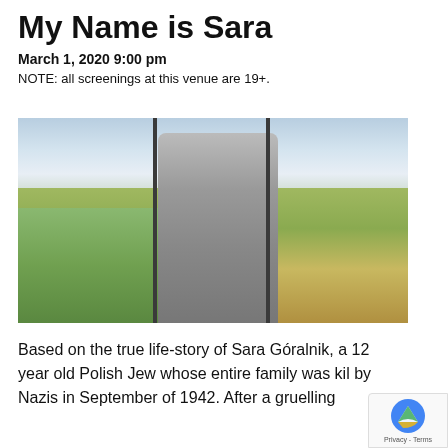My Name is Sara
March 1, 2020 9:00 pm
NOTE: all screenings at this venue are 19+.
[Figure (photo): A young woman in a grey dress with a white collar holding two vertical bars/poles in an outdoor field setting with green vegetation and an overcast sky.]
Based on the true life-story of Sara Góralnik, a 12 year old Polish Jew whose entire family was kil by Nazis in September of 1942. After a gruelling